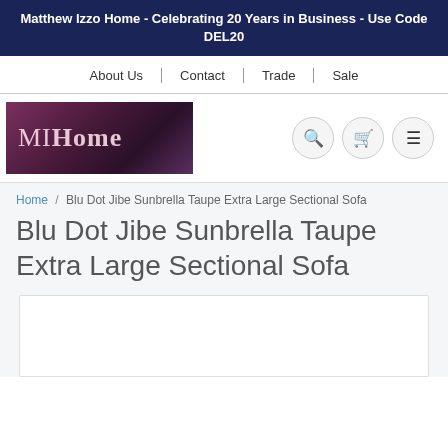Matthew Izzo Home - Celebrating 20 Years in Business - Use Code DEL20
About Us | Contact | Trade | Sale
[Figure (logo): MIHome logo with gradient purple/dark background]
Home / Blu Dot Jibe Sunbrella Taupe Extra Large Sectional Sofa
Blu Dot Jibe Sunbrella Taupe Extra Large Sectional Sofa
[Figure (photo): Product image area (white box, partially visible)]